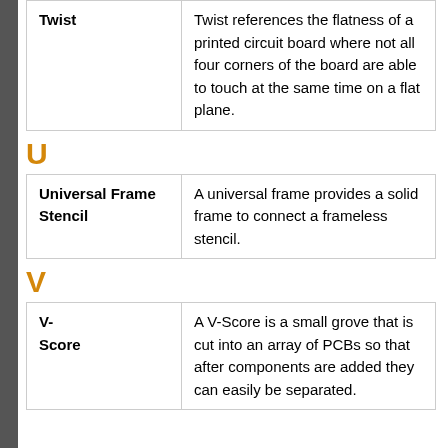| Term | Definition |
| --- | --- |
| Twist | Twist references the flatness of a printed circuit board where not all four corners of the board are able to touch at the same time on a flat plane. |
U
| Term | Definition |
| --- | --- |
| Universal Frame Stencil | A universal frame provides a solid frame to connect a frameless stencil. |
V
| Term | Definition |
| --- | --- |
| V-Score | A V-Score is a small grove that is cut into an array of PCBs so that after components are added they can easily be separated. |